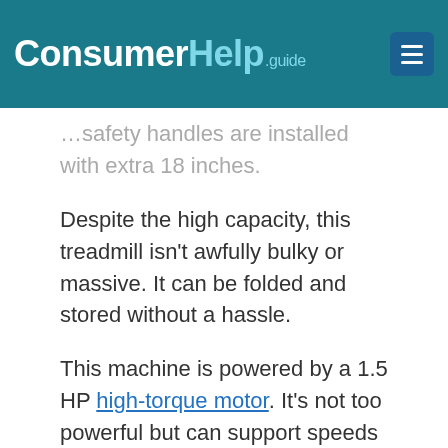ConsumerHelp.guide
…safety handles are installed with extra 18 inches.
Despite the high capacity, this treadmill isn't awfully bulky or massive. It can be folded and stored without a hassle.
This machine is powered by a 1.5 HP high-torque motor. It's not too powerful but can support speeds up to 4 miles per hour.
It's great for gentle cardio and powerwalks inside the home…